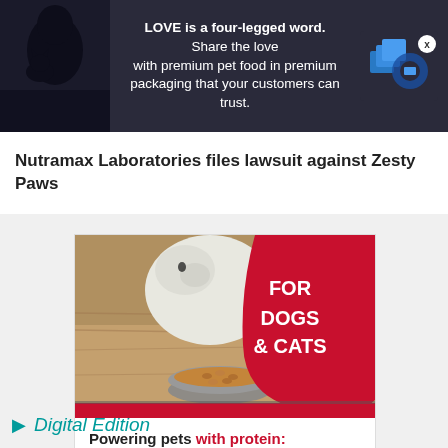[Figure (illustration): Top banner advertisement: dark background with silhouette photo of person with pet on left, text 'LOVE is a four-legged word. Share the love with premium pet food in premium packaging that your customers can trust.' in center, blue box logo on right with X close button]
Nutramax Laboratories files lawsuit against Zesty Paws
[Figure (illustration): Essentia Protein Solutions advertisement showing a cat eating from a bowl of pet food on a wooden surface. Red blob shape on right reads 'FOR DOGS & CATS'. Below: 'Powering pets with protein: Human-Grade, All-Natural Bone Broths'. Red 'LEARN MORE' button and Essentia Protein Solutions logo.]
Digital Edition